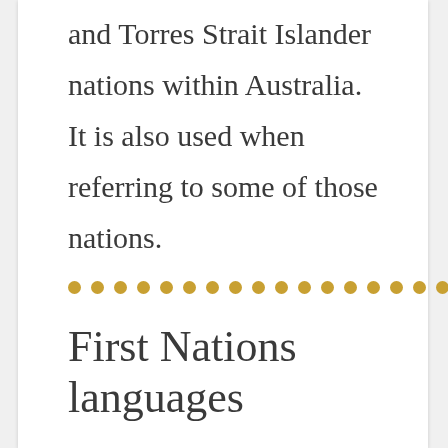and Torres Strait Islander nations within Australia.
It is also used when referring to some of those nations.
[Figure (other): A decorative row of golden/amber dots used as a section divider]
First Nations languages